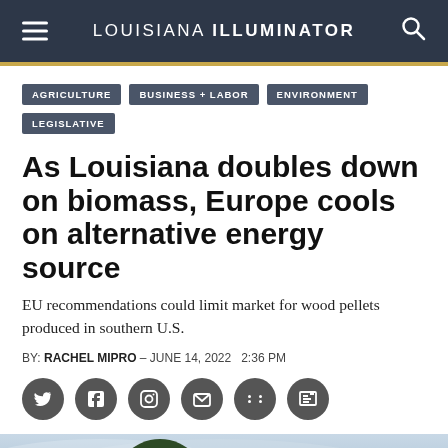LOUISIANA ILLUMINATOR
AGRICULTURE
BUSINESS + LABOR
ENVIRONMENT
LEGISLATIVE
As Louisiana doubles down on biomass, Europe cools on alternative energy source
EU recommendations could limit market for wood pellets produced in southern U.S.
BY: RACHEL MIPRO - JUNE 14, 2022  2:36 PM
[Figure (photo): Outdoor photograph showing trees against a cloudy sky, likely related to biomass/forestry]